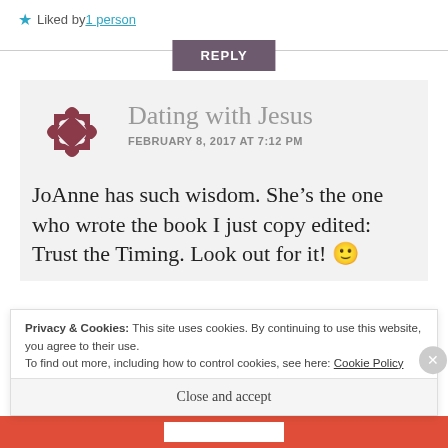★ Liked by 1 person
REPLY
[Figure (logo): Decorative circular puzzle-piece style avatar in dark red/maroon color]
Dating with Jesus
FEBRUARY 8, 2017 AT 7:12 PM
JoAnne has such wisdom. She’s the one who wrote the book I just copy edited: Trust the Timing. Look out for it! 🙂
Privacy & Cookies: This site uses cookies. By continuing to use this website, you agree to their use.
To find out more, including how to control cookies, see here: Cookie Policy
Close and accept